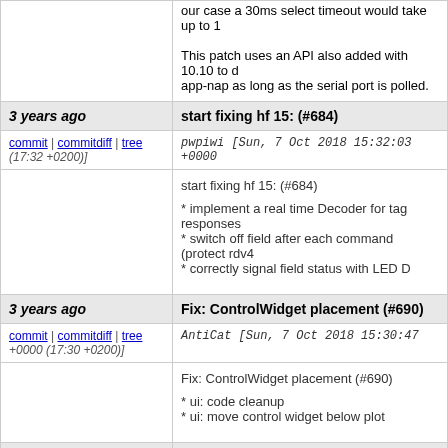our case a 30ms select timeout would take up to 1

This patch uses an API also added with 10.10 to disable app-nap as long as the serial port is polled.
3 years ago   start fixing hf 15: (#684)
commit | commitdiff | tree (17:32 +0200)]
pwpiwi [Sun, 7 Oct 2018 15:32:03 +0000
start fixing hf 15: (#684)

* implement a real time Decoder for tag responses
* switch off field after each command (protect rdv4
* correctly signal field status with LED D
3 years ago   Fix: ControlWidget placement (#690)
commit | commitdiff | tree +0000 (17:30 +0200)]
AntiCat [Sun, 7 Oct 2018 15:30:47
Fix: ControlWidget placement (#690)

* ui: code cleanup
* ui: move control widget below plot
3 years ago   Add another #ifdef for the __BIONIC__ fix
(the effect of setting n  thread to 0 is